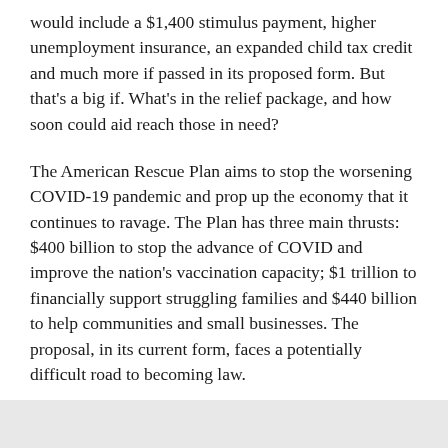would include a $1,400 stimulus payment, higher unemployment insurance, an expanded child tax credit and much more if passed in its proposed form. But that's a big if. What's in the relief package, and how soon could aid reach those in need?
The American Rescue Plan aims to stop the worsening COVID-19 pandemic and prop up the economy that it continues to ravage. The Plan has three main thrusts: $400 billion to stop the advance of COVID and improve the nation's vaccination capacity; $1 trillion to financially support struggling families and $440 billion to help communities and small businesses. The proposal, in its current form, faces a potentially difficult road to becoming law.